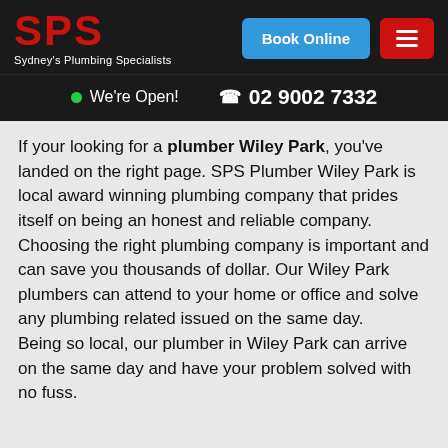[Figure (logo): SPS Sydney's Plumbing Specialists logo in red on dark background, with Book Online blue button and red hamburger menu button]
We're Open!  02 9002 7332
If your looking for a plumber Wiley Park, you've landed on the right page. SPS Plumber Wiley Park is local award winning plumbing company that prides itself on being an honest and reliable company.
Choosing the right plumbing company is important and can save you thousands of dollar. Our Wiley Park plumbers can attend to your home or office and solve any plumbing related issued on the same day.
Being so local, our plumber in Wiley Park can arrive on the same day and have your problem solved with no fuss.